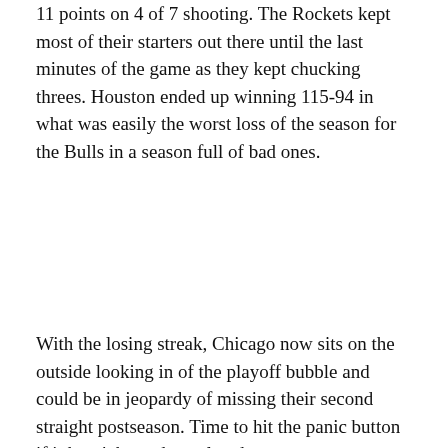11 points on 4 of 7 shooting. The Rockets kept most of their starters out there until the last minutes of the game as they kept chucking threes. Houston ended up winning 115-94 in what was easily the worst loss of the season for the Bulls in a season full of bad ones.
With the losing streak, Chicago now sits on the outside looking in of the playoff bubble and could be in jeopardy of missing their second straight postseason. Time to hit the panic button if it hasn't been done already.
[Figure (other): DraftKings Sportsbook betting widget with 'Bet Now!' button and DraftKings Sportsbook logo on green header, followed by white rows showing 'Nikola Vucevic' player name and an empty data row.]